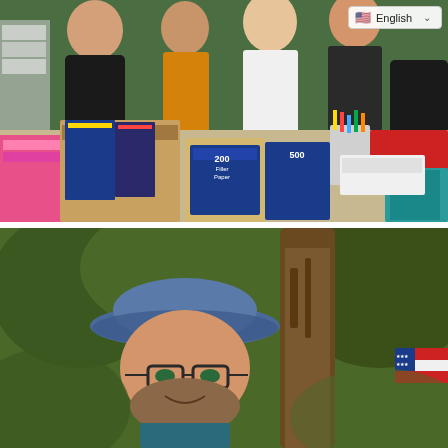[Figure (photo): Group photo of four people (two men and two women) standing behind a table loaded with school supplies including notebooks, filler paper packs (200, 500 sheet), binders, pencils, and various other supplies in an office with a green wall. A language selector UI element (English with US flag) is visible in the top-right corner.]
[Figure (photo): Close-up photo of a man wearing a wide-brim blue hat and glasses, smiling outdoors among trees. A partial US flag/patch is visible on the right side.]